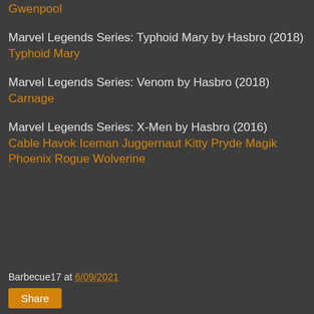Gwenpool
Marvel Legends Series: Typhoid Mary by Hasbro (2018)
Typhoid Mary
Marvel Legends Series: Venom by Hasbro (2018)
Carnage
Marvel Legends Series: X-Men by Hasbro (2016)
Cable
Havok
Iceman
Juggernaut
Kitty Pryde
Magik
Phoenix
Rogue
Wolverine
Barbecue17 at 6/09/2021